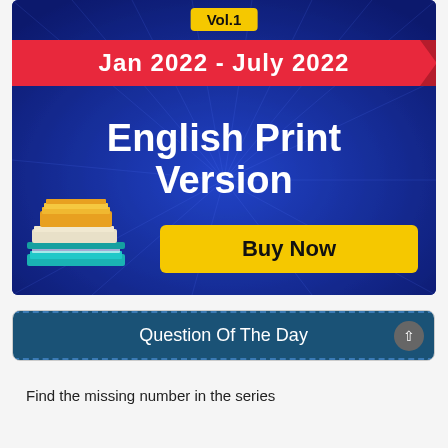[Figure (infographic): Advertisement banner for English Print Version Vol.1, Jan 2022 - July 2022, with a blue radial background, red ribbon header, stack of books illustration, and yellow Buy Now button]
Question Of The Day
Find the missing number in the series